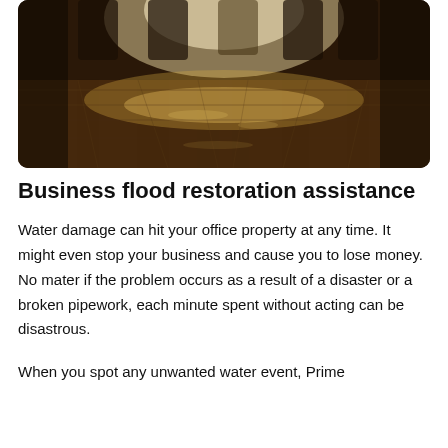[Figure (photo): A flooded indoor space, likely a building lobby or hallway, with water pooling on a tiled floor. Light streams through windows in the background, reflecting off the standing water. The scene has a dark, moody tone with warm brown tones.]
Business flood restoration assistance
Water damage can hit your office property at any time. It might even stop your business and cause you to lose money. No mater if the problem occurs as a result of a disaster or a broken pipework, each minute spent without acting can be disastrous.
When you spot any unwanted water event, Prime